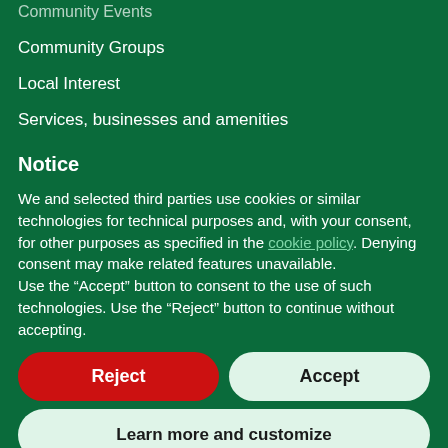Community Events
Community Groups
Local Interest
Services, businesses and amenities
Notice
We and selected third parties use cookies or similar technologies for technical purposes and, with your consent, for other purposes as specified in the cookie policy. Denying consent may make related features unavailable.
Use the “Accept” button to consent to the use of such technologies. Use the “Reject” button to continue without accepting.
Reject
Accept
Learn more and customize